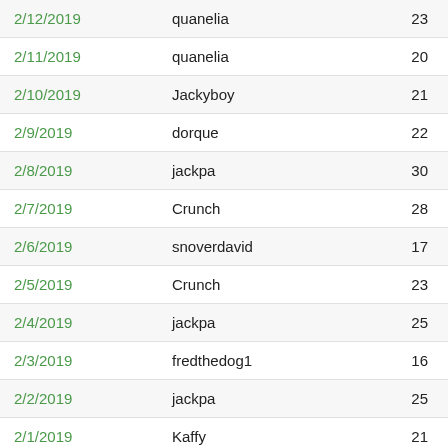| Date | Name | Number |
| --- | --- | --- |
| 2/12/2019 | quanelia | 23 |
| 2/11/2019 | quanelia | 20 |
| 2/10/2019 | Jackyboy | 21 |
| 2/9/2019 | dorque | 22 |
| 2/8/2019 | jackpa | 30 |
| 2/7/2019 | Crunch | 28 |
| 2/6/2019 | snoverdavid | 17 |
| 2/5/2019 | Crunch | 23 |
| 2/4/2019 | jackpa | 25 |
| 2/3/2019 | fredthedog1 | 16 |
| 2/2/2019 | jackpa | 25 |
| 2/1/2019 | Kaffy | 21 |
| 1/31/2019 | snoverdavid | 18 |